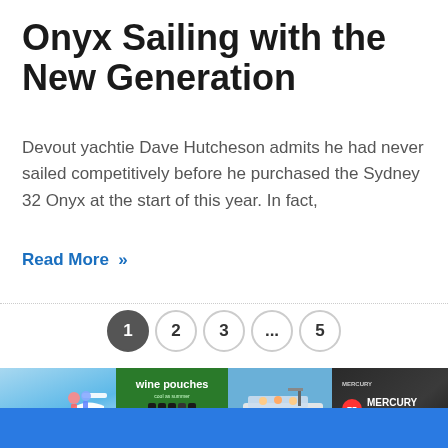Onyx Sailing with the New Generation
Devout yachtie Dave Hutcheson admits he had never sailed competitively before he purchased the Sydney 32 Onyx at the start of this year. In fact,
Read More »
[Figure (infographic): Pagination navigation with circles numbered 1 (active, dark), 2, 3, ..., 5]
[Figure (photo): Thumbnail image: Sanctuary Cove International Boat Show with figures on water]
[Figure (photo): Thumbnail image: Wine pouches advertisement with bottles and green background]
[Figure (photo): Thumbnail image: Speedboat on water with people onboard]
[Figure (photo): Thumbnail image: Mercury 150 FourStroke outboard motor advertisement]